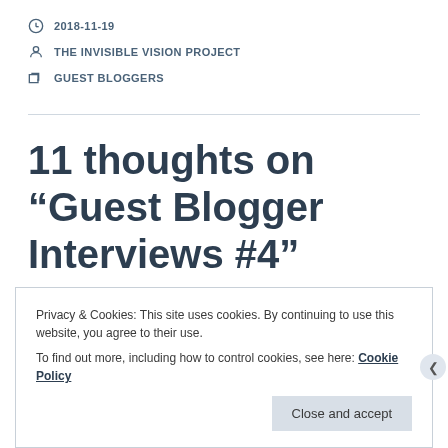2018-11-19
THE INVISIBLE VISION PROJECT
GUEST BLOGGERS
11 thoughts on “Guest Blogger Interviews #4”
Privacy & Cookies: This site uses cookies. By continuing to use this website, you agree to their use.
To find out more, including how to control cookies, see here: Cookie Policy
Close and accept